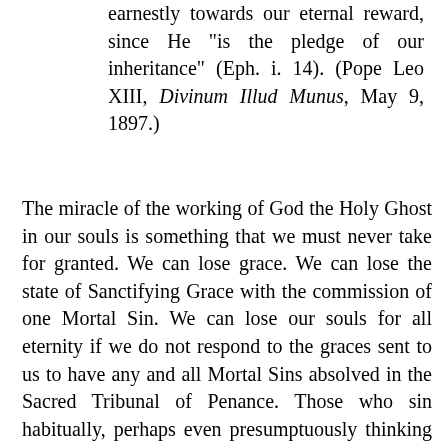earnestly towards our eternal reward, since He "is the pledge of our inheritance" (Eph. i. 14). (Pope Leo XIII, Divinum Illud Munus, May 9, 1897.)
The miracle of the working of God the Holy Ghost in our souls is something that we must never take for granted. We can lose grace. We can lose the state of Sanctifying Grace with the commission of one Mortal Sin. We can lose our souls for all eternity if we do not respond to the graces sent to us to have any and all Mortal Sins absolved in the Sacred Tribunal of Penance. Those who sin habitually, perhaps even presumptuously thinking that they can sin and get to Confession thereafter, may find that God withdraws His graces from them, a fearful and terrifying thought that should pray to God the Holy Ghost every day for an increase of grace in our souls so that our intellects will be